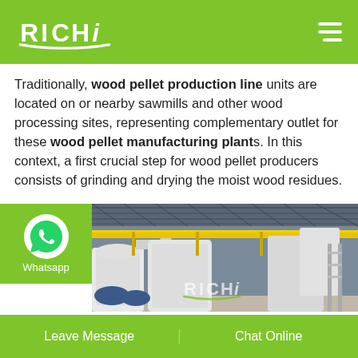RICHI - logo and navigation header
Traditionally, wood pellet production line units are located on or nearby sawmills and other wood processing sites, representing complementary outlet for these wood pellet manufacturing plants. In this context, a first crucial step for wood pellet producers consists of grinding and drying the moist wood residues.
[Figure (photo): WhatsApp contact badge with green background and WhatsApp icon labeled 'Whatsapp', alongside a factory interior photo showing white industrial machinery, yellow walkway rails, and a RICHI logo watermark]
Leave Message | Chat Online